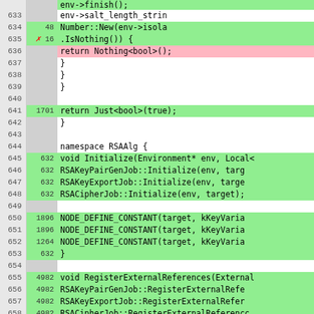[Figure (screenshot): Code coverage viewer showing C++ source lines 632-658 with line numbers, hit counts, and green/red/white background highlighting. Green lines are covered, red lines are uncovered, white lines are not executable.]